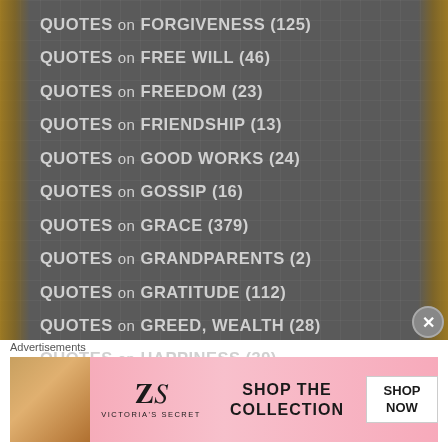QUOTES on FORGIVENESS (125)
QUOTES on FREE WILL (46)
QUOTES on FREEDOM (23)
QUOTES on FRIENDSHIP (13)
QUOTES on GOOD WORKS (24)
QUOTES on GOSSIP (16)
QUOTES on GRACE (379)
QUOTES on GRANDPARENTS (2)
QUOTES on GRATITUDE (112)
QUOTES on GREED, WEALTH (28)
QUOTES on HAPPINESS (39)
Advertisements
[Figure (screenshot): Victoria's Secret advertisement banner with model photo, VS logo, 'SHOP THE COLLECTION' text and 'SHOP NOW' button]